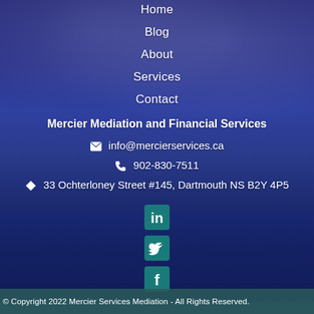Home
Blog
About
Services
Contact
Mercier Mediation and Financial Services
info@mercierservices.ca
902-830-7511
33 Ochterloney Street #145, Dartmouth NS B2Y 4P5
[Figure (logo): LinkedIn social media icon (teal/blue square with white 'in' letter)]
[Figure (logo): Twitter social media icon (teal/blue square with white bird)]
[Figure (logo): Facebook social media icon (teal/blue square with white 'f' letter)]
© Copyright 2022 Mercier Services Mediation - All Rights Reserved.